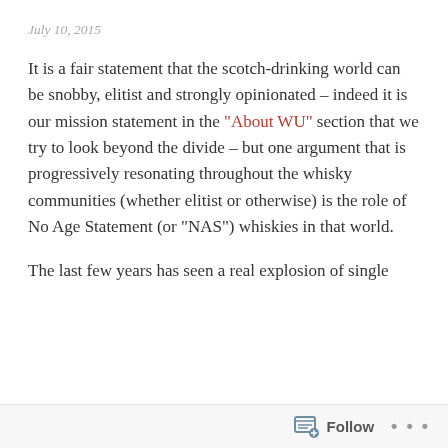July 10, 2015
It is a fair statement that the scotch-drinking world can be snobby, elitist and strongly opinionated – indeed it is our mission statement in the “About WU” section that we try to look beyond the divide – but one argument that is progressively resonating throughout the whisky communities (whether elitist or otherwise) is the role of No Age Statement (or “NAS”) whiskies in that world.
The last few years has seen a real explosion of single malts being released by distilleries of all sizes to try and attract new customers. No greater sign of this trend is the ever more inventively casked and matured drams making their way into the market, with multiple maturation becoming the norm amongst the NAS drams. Effectively, the competitive market is pushing distilleries to be more
Follow ...